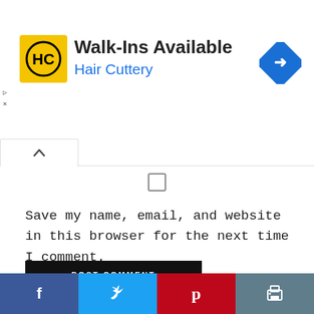[Figure (screenshot): Advertisement banner for Hair Cuttery: yellow logo with HC letters, text 'Walk-Ins Available' and 'Hair Cuttery' in blue, blue diamond navigation arrow icon on right]
[Figure (screenshot): Chevron up button tab and a checkbox input element]
Save my name, email, and website in this browser for the next time I comment.
POST COMMENT
About the Author
[Figure (photo): Photo of a woman with long dark hair wearing a green top, standing near a decorative metal gate]
[Figure (screenshot): Social sharing toolbar with Facebook, Twitter, Pinterest, and Print buttons]